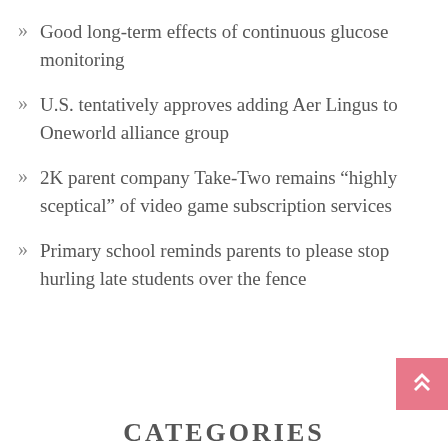Good long-term effects of continuous glucose monitoring
U.S. tentatively approves adding Aer Lingus to Oneworld alliance group
2K parent company Take-Two remains “highly sceptical” of video game subscription services
Primary school reminds parents to please stop hurling late students over the fence
CATEGORIES